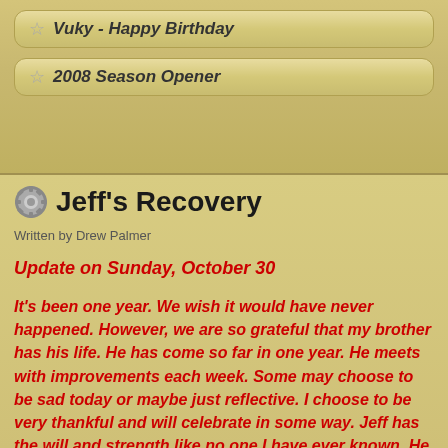☆ Vuky - Happy Birthday
☆ 2008 Season Opener
Jeff's Recovery
Written by Drew Palmer
Update on Sunday, October 30
It's been one year. We wish it would have never happened. However, we are so grateful that my brother has his life. He has come so far in one year. He meets with improvements each week. Some may choose to be sad today or maybe just reflective. I choose to be very thankful and will celebrate in some way. Jeff has the will and strength like no one I have ever known. He has the very best friends and fans. Jeff is so fortunate to have his immediate circle of his wife, family and